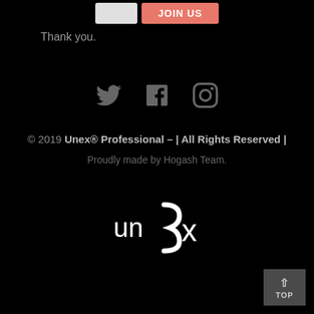[Figure (screenshot): Form area with a gray text input box (showing partial text 'yot') and an orange/salmon 'JOIN US' button]
Thank you.
[Figure (infographic): Social media icons: Twitter bird, Facebook f, Instagram camera - all in gray]
© 2019 Unex® Professional – | All Rights Reserved |
Proudly made by Hogash Team.
[Figure (logo): Unex logo in white - stylized text 'un' with a curly bracket and 'x']
[Figure (other): TOP button - dark gray square with upward arrow and text TOP]